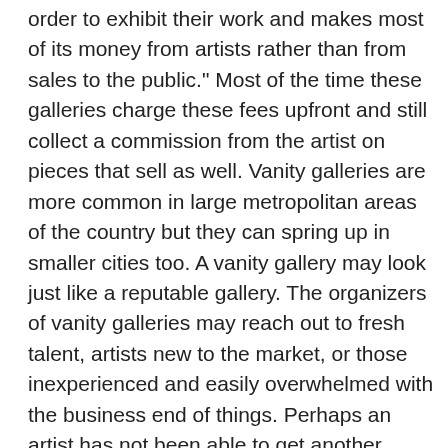order to exhibit their work and makes most of its money from artists rather than from sales to the public." Most of the time these galleries charge these fees upfront and still collect a commission from the artist on pieces that sell as well. Vanity galleries are more common in large metropolitan areas of the country but they can spring up in smaller cities too. A vanity gallery may look just like a reputable gallery. The organizers of vanity galleries may reach out to fresh talent, artists new to the market, or those inexperienced and easily overwhelmed with the business end of things. Perhaps an artist has not been able to get another gallery to express interest in their work and the vanity gallery representative offers them hope for the first time.
It is a lonely world out there for artists, as they look for approval and a venue to show their work, they have heard the old adage " you have to spend money to make money" so forking over an entry fee, a hanging fee, and free labor not to mention the commission to the gallery in exchange for a show seems almost worth it, but it rarely is.
Before you freak out and cry foul. Yes, of course there are